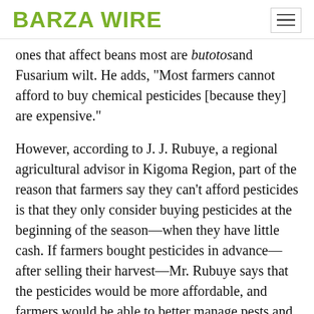BARZA WIRE
ones that affect beans most are butotos and Fusarium wilt. He adds, “Most farmers cannot afford to buy chemical pesticides [because they] are expensive.”
However, according to J. J. Rubuye, a regional agricultural advisor in Kigoma Region, part of the reason that farmers say they can’t afford pesticides is that they only consider buying pesticides at the beginning of the season—when they have little cash. If farmers bought pesticides in advance—after selling their harvest—Mr. Rubuye says that the pesticides would be more affordable, and farmers would be able to better manage pests and diseases.
Mr. Sabibi also says that local farmers use the leaves of the ntibuhunwa tree (Tephrosia vogelii). They grind the leaves and soak them in water for some hours, then